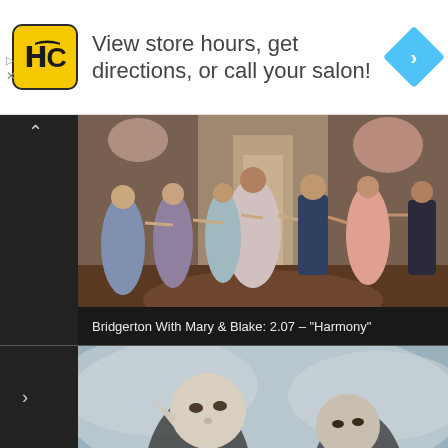[Figure (screenshot): Advertisement banner with Haircuts logo (HC in yellow square), text 'View store hours, get directions, or call your salon!' and blue navigation diamond icon on right]
[Figure (screenshot): Video thumbnail of Bridgerton ballroom dance scene with multiple people in period costumes dancing in an ornate hall]
Bridgerton With Mary & Blake: 2.07 – "Harmony"
[Figure (screenshot): Partial video thumbnail showing fantasy characters, appears to be from a fantasy TV series with elven or otherworldly characters]